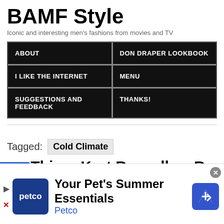BAMF Style
Iconic and interesting men's fashions from movies and TV
ABOUT
DON DRAPER LOOKBOOK
I LIKE THE INTERNET
MENU
SUGGESTIONS AND FEEDBACK
THANKS!
Tagged: Cold Climate
JUNE 25, 2022
Thing: Kurt Russell as R...
[Figure (other): Petco advertisement: Your Pet's Summer Essentials, Petco]